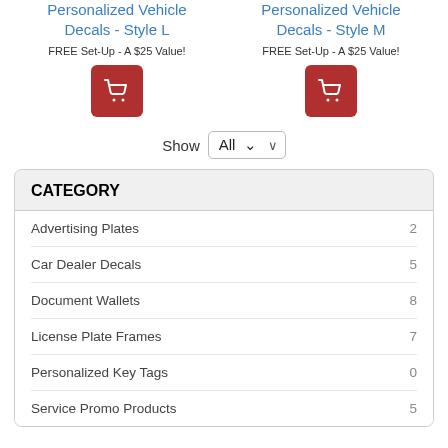Personalized Vehicle Decals - Style L
FREE Set-Up - A $25 Value!
[Figure (other): Red shopping cart button icon for Style L]
Personalized Vehicle Decals - Style M
FREE Set-Up - A $25 Value!
[Figure (other): Red shopping cart button icon for Style M]
Show  All
CATEGORY
Advertising Plates  2
Car Dealer Decals  5
Document Wallets  8
License Plate Frames  7
Personalized Key Tags  0
Service Promo Products  5